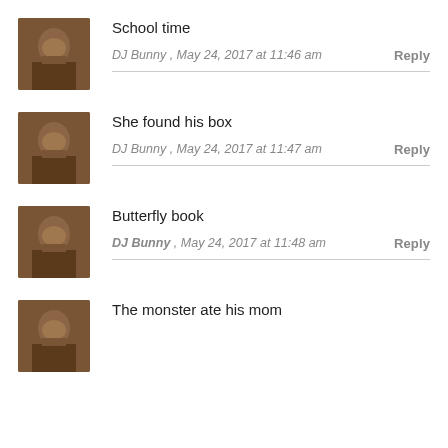School time
DJ Bunny , May 24, 2017 at 11:46 am   Reply
She found his box
DJ Bunny , May 24, 2017 at 11:47 am   Reply
Butterfly book
DJ Bunny , May 24, 2017 at 11:48 am   Reply
The monster ate his mom